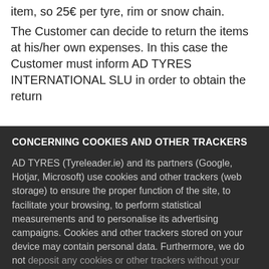item, so 25€ per tyre, rim or snow chain. The Customer can decide to return the items at his/her own expenses. In this case the Customer must inform AD TYRES INTERNATIONAL SLU in order to obtain the return address and other relevant information about this
CONCERNING COOKIES AND OTHER TRACKERS
AD TYRES (Tyreleader.ie) and its partners (Google, Hotjar, Microsoft) use cookies and other trackers (web storage) to ensure the proper function of the site, to facilitate your browsing, to perform statistical measurements and to personalise its advertising campaigns. Cookies and other trackers stored on your device may contain personal data. Furthermore, we do not deposit any cookies or other trackers without your voluntary and
Accept
Customise